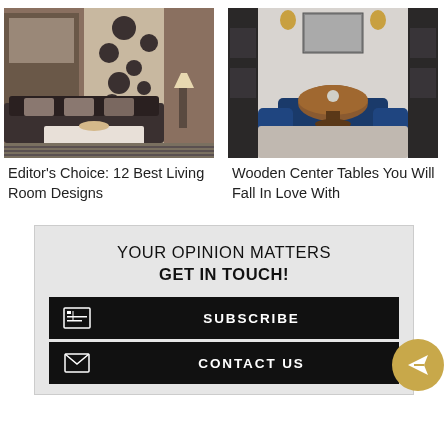[Figure (photo): Interior design photo of a living room with dark sofa, decorative circular wall panels, patterned wallpaper, and striped rug]
[Figure (photo): Interior design photo of an elegant living room with blue accent chairs, a round wooden center table, and black shelving units]
Editor's Choice: 12 Best Living Room Designs
Wooden Center Tables You Will Fall In Love With
YOUR OPINION MATTERS
GET IN TOUCH!
SUBSCRIBE
CONTACT US